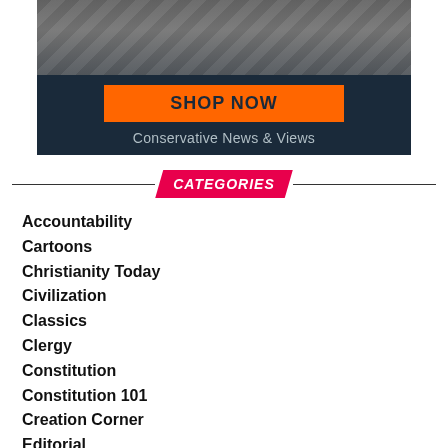[Figure (photo): Banner advertisement with photo of person, orange SHOP NOW button, and tagline 'Conservative News & Views' on dark navy background]
CATEGORIES
Accountability
Cartoons
Christianity Today
Civilization
Classics
Clergy
Constitution
Constitution 101
Creation Corner
Editorial